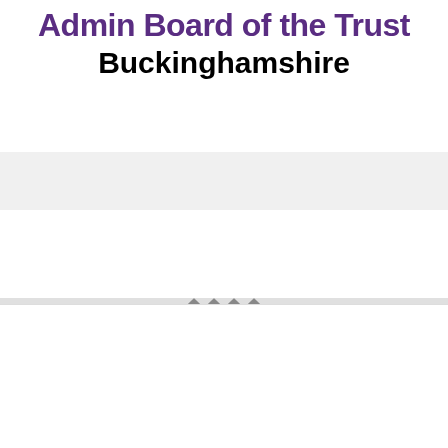Buckinghamshire
We use cookies on our website to give you the most relevant experience by remembering your preferences and repeat visits. By clicking “Accept All”, you consent to the use of ALL the cookies. However, you may visit "Cookie Settings" to provide a controlled consent.
Settings
Accept All